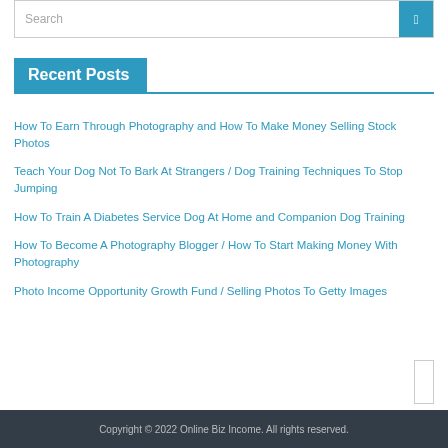Search
Recent Posts
How To Earn Through Photography and How To Make Money Selling Stock Photos
Teach Your Dog Not To Bark At Strangers / Dog Training Techniques To Stop Jumping
How To Train A Diabetes Service Dog At Home and Companion Dog Training
How To Become A Photography Blogger / How To Start Making Money With Photography
Photo Income Opportunity Growth Fund / Selling Photos To Getty Images
Copyright © 2022 Online Biz Income. All rights reserved.